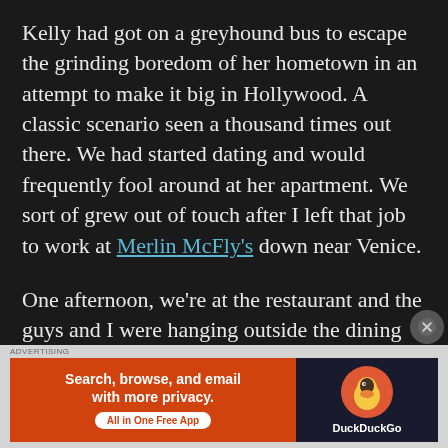Kelly had got on a greyhound bus to escape the grinding boredom of her hometown in an attempt to make it big in Hollywood. A classic scenario seen a thousand times out there. We had started dating and would frequently fool around at her apartment. We sort of grew out of touch after I left that job to work at Merlin McFly's down near Venice.
One afternoon, we're at the restaurant and the guys and I were hanging outside the dining room by the doors. The lunch rush was over and the two glass doors swung open. Who
[Figure (infographic): DuckDuckGo advertisement banner: orange left panel with text 'Search, browse, and email with more privacy. All in One Free App' and dark right panel with DuckDuckGo duck logo and brand name.]